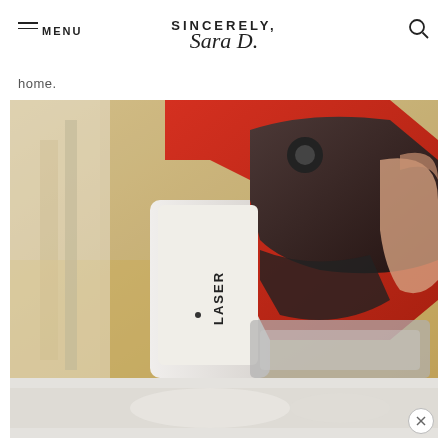SINCERELY, Sara D.
home.
[Figure (photo): Close-up photograph of a red and black laser level tool being held by a person's hand. The tool has 'LASER' printed on its white body. Background shows a blurred wooden floor and furniture.]
[Figure (photo): Bottom portion of another photo, partially visible, showing a light-colored surface with blurred elements.]